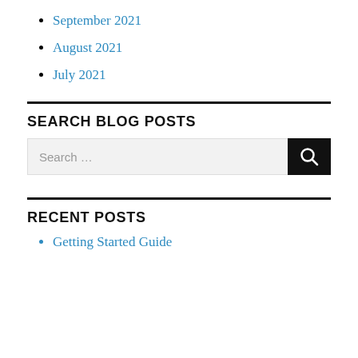September 2021
August 2021
July 2021
SEARCH BLOG POSTS
Search ...
RECENT POSTS
Getting Started Guide